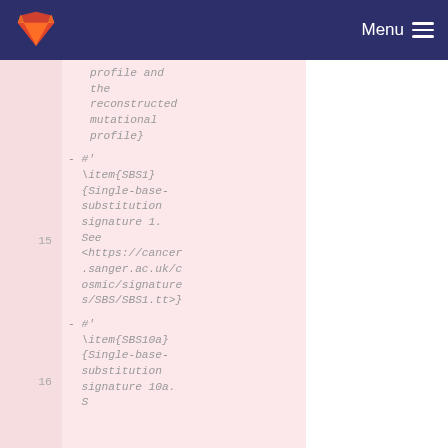Menu
profile and
the
reconstructed
mutational
profile}
15  - #'
    \item{SBS1}
    {Single-base-
    substitution
    signature 1.
    See
    <https://cancer
    .sanger.ac.uk/c
    osmic/signature
    s/SBS/SBS1.tt>}
16  - #'
    \item{SBS10a}
    {Single-base-
    substitution
    signature 10a.
    S...